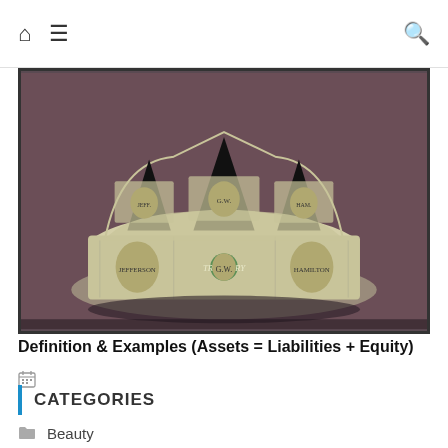Home | Menu | Search
[Figure (photo): A crown made from folded US dollar bills, featuring portraits of US presidents, set against a dark brownish-purple background.]
Definition & Examples (Assets = Liabilities + Equity)
CATEGORIES
Beauty
Breaking News
Business